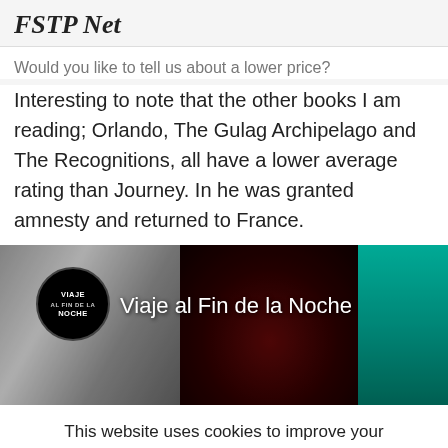FSTP Net
Would you like to tell us about a lower price?
Interesting to note that the other books I am reading; Orlando, The Gulag Archipelago and The Recognitions, all have a lower average rating than Journey. In he was granted amnesty and returned to France.
[Figure (photo): Book cover image for 'Viaje al Fin de la Noche' showing a dark composite of a skull-like face in black and white on the left, dark red abstract imagery in the center, and teal/turquoise on the right. A circular black logo badge reads 'VIAJE AL FIN DE LA NOCHE' on the left side. White text overlay reads 'Viaje al Fin de la Noche'.]
This website uses cookies to improve your experience. We'll assume you're ok with this, but you can opt-out if you wish.
Cookie settings   ACCEPT